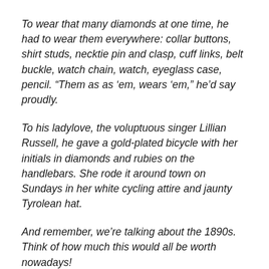To wear that many diamonds at one time, he had to wear them everywhere: collar buttons, shirt studs, necktie pin and clasp, cuff links, belt buckle, watch chain, watch, eyeglass case, pencil. “Them as as ‘em, wears ‘em,” he’d say proudly.
To his ladylove, the voluptuous singer Lillian Russell, he gave a gold-plated bicycle with her initials in diamonds and rubies on the handlebars. She rode it around town on Sundays in her white cycling attire and jaunty Tyrolean hat.
And remember, we’re talking about the 1890s. Think of how much this would all be worth nowadays!
Brady’s appetite for food was equally extravagant. Clams and oysters and crabs and ducks and steak and turtles